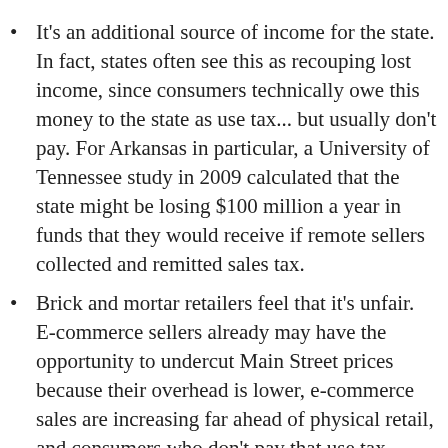It's an additional source of income for the state. In fact, states often see this as recouping lost income, since consumers technically owe this money to the state as use tax... but usually don't pay. For Arkansas in particular, a University of Tennessee study in 2009 calculated that the state might be losing $100 million a year in funds that they would receive if remote sellers collected and remitted sales tax.
Brick and mortar retailers feel that it's unfair. E-commerce sellers already may have the opportunity to undercut Main Street prices because their overhead is lower, e-commerce sales are increasing far ahead of physical retail, and consumers who don't pay that use tax